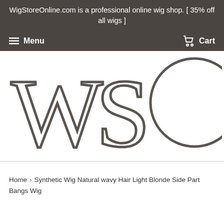WigStoreOnline.com is a professional online wig shop. [ 35% off all wigs ]
Menu  Cart
[Figure (logo): WSO logo — large stylized letters W, S, O in dark gray on white background]
Home › Synthetic Wig Natural wavy Hair Light Blonde Side Part Bangs Wig